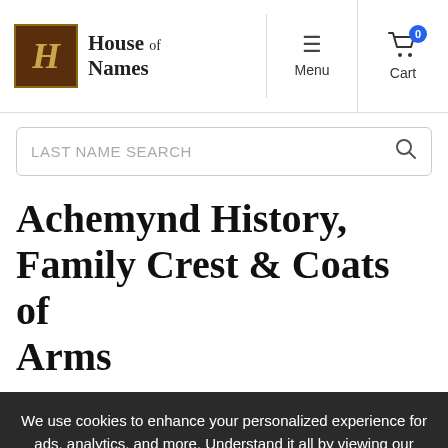House of Names — Menu | Cart
LAST NAME SEARCH
Achemynd History, Family Crest & Coats of Arms
We use cookies to enhance your personalized experience for ads, analytics, and more. Understand it all by viewing our Privacy Policy.
Accept & Continue